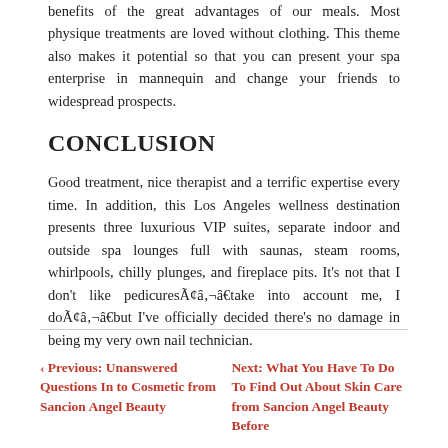benefits of the great advantages of our meals. Most physique treatments are loved without clothing. This theme also makes it potential so that you can present your spa enterprise in mannequin and change your friends to widespread prospects.
CONCLUSION
Good treatment, nice therapist and a terrific expertise every time. In addition, this Los Angeles wellness destination presents three luxurious VIP suites, separate indoor and outside spa lounges full with saunas, steam rooms, whirlpools, chilly plunges, and fireplace pits. It’s not that I don’t like pedicuresÃ¢â‚¬â€take into account me, I doÃ¢â‚¬â€but I’ve officially decided there’s no damage in being my very own nail technician.
‹ Previous: Unanswered Questions In to Cosmetic from Sancion Angel Beauty
Next: What You Have To Do To Find Out About Skin Care from Sancion Angel Beauty Before